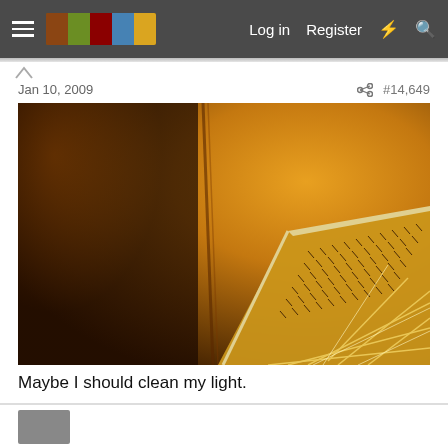Log in  Register
Jan 10, 2009  #14,649
[Figure (photo): Close-up photo of a ceiling light fixture/panel with yellow-orange warm tint. The light panel is in the lower right portion of the image, showing through perforated holes creating radiating light streaks. The background wall is bathed in warm amber light.]
Maybe I should clean my light.